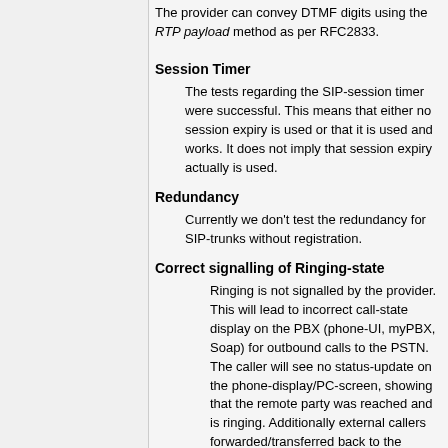The provider can convey DTMF digits using the RTP payload method as per RFC2833.
Session Timer
The tests regarding the SIP-session timer were successful. This means that either no session expiry is used or that it is used and works. It does not imply that session expiry actually is used.
Redundancy
Currently we don't test the redundancy for SIP-trunks without registration.
Correct signalling of Ringing-state
Ringing is not signalled by the provider. This will lead to incorrect call-state display on the PBX (phone-UI, myPBX, Soap) for outbound calls to the PSTN. The caller will see no status-update on the phone-display/PC-screen, showing that the remote party was reached and is ringing. Additionally external callers forwarded/transferred back to the PSTN,